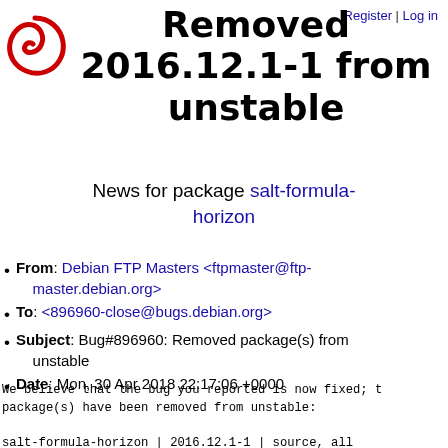Register | Log in
[Figure (logo): Debian swirl logo in red]
Removed 2016.12.1-1 from unstable
News for package salt-formula-horizon
From: Debian FTP Masters <ftpmaster@ftp-master.debian.org>
To: <896960-close@bugs.debian.org>
Subject: Bug#896960: Removed package(s) from unstable
Date: Mon, 30 Apr 2018 22:17:06 +0000
We believe that the bug you reported is now fixed; the package(s) have been removed from unstable:
salt-formula-horizon | 2016.12.1-1 | source, all
------------------- Reason --------------------
ROM: Obsoleted in favour of new upstream distribut...